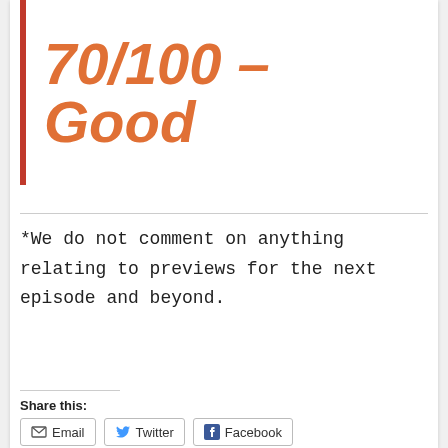70/100 – Good
*We do not comment on anything relating to previews for the next episode and beyond.
Share this:
Email   Twitter   Facebook
Loading...
Related